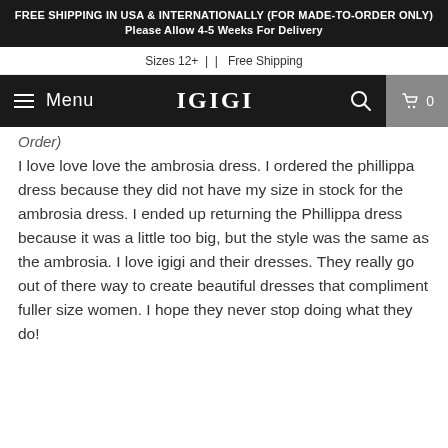FREE SHIPPING IN USA & INTERNATIONALLY (FOR MADE-TO-ORDER ONLY) Please Allow 4-5 Weeks For Delivery
Sizes 12+ |  |  Free Shipping
Menu  IGIGI  0
Order)
I love love love the ambrosia dress. I ordered the phillippa dress because they did not have my size in stock for the ambrosia dress. I ended up returning the Phillippa dress because it was a little too big, but the style was the same as the ambrosia. I love igigi and their dresses. They really go out of there way to create beautiful dresses that compliment fuller size women. I hope they never stop doing what they do!